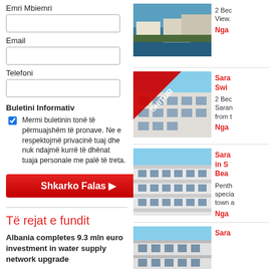Emri Mbiemri
Email
Telefoni
Buletini Informativ
Mermi buletinin tonë të përmuajshëm të pronave. Ne e respektojmë privacinë tuaj dhe nuk ndajmë kurrë të dhënat tuaja personale me palë të treta.
Shkarko Falas
Të rejat e fundit
Albania completes 9.3 mln euro investment in water supply network upgrade
TIRANA (Albania), March 22 (SeeNews) - The upgrade works of the water supply network in...
11 Prill 2017
Më shumë...
[Figure (photo): Coastal property with sea view, buildings near water]
2 Bec View.
Nga
[Figure (photo): White multi-story building with SHITUR (sold) ribbon]
Sara Swi
2 Bec Saran from t
Nga
[Figure (photo): White apartment building facade]
Sara in S Bea
Penth specia town a
Nga
[Figure (photo): Multi-story building, partial view]
Sara